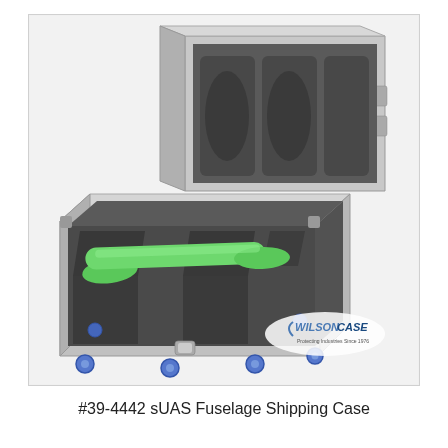[Figure (illustration): 3D rendering of the #39-4442 sUAS Fuselage Shipping Case by WilsonCase. The case is shown open in two parts: the upper lid portion showing dark gray foam inserts, and the lower base with a bright green fuselage/drone body resting in custom-cut gray foam cradles. The case has silver metallic exterior panels and blue caster wheels on the bottom. The WilsonCase logo appears in the lower right of the image.]
#39-4442 sUAS Fuselage Shipping Case